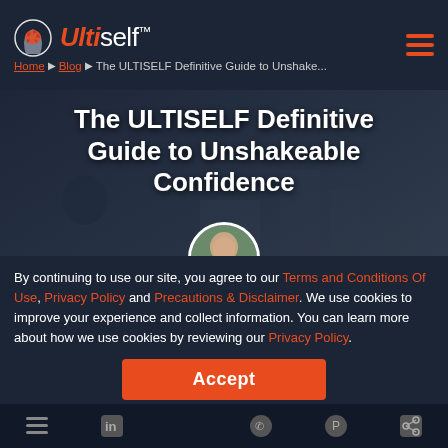ULTIself™ — Home › Blog › The ULTISELF Definitive Guide to Unshake...
The ULTISELF Definitive Guide to Unshakeable Confidence
Alex Nekritin
CEO and Founder of Ultiself
By continuing to use our site, you agree to our Terms and Conditions Of Use, Privacy Policy and Precautions & Disclaimer. We use cookies to improve your experience and collect information. You can learn more about how we use cookies by reviewing our Privacy Policy.
Accept